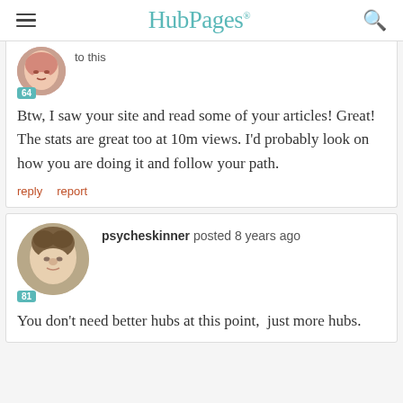HubPages
to this
Btw, I saw your site and read some of your articles! Great!  The stats are great too at 10m views. I'd probably look on how you are doing it and follow your path.
reply   report
psycheskinner posted 8 years ago
You don't need better hubs at this point,  just more hubs.